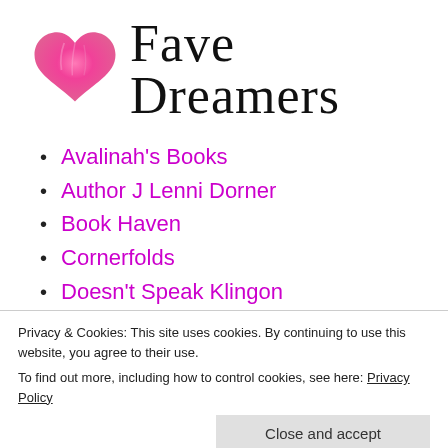[Figure (logo): Fave Dreamers logo with a pink watercolor heart on the left and cursive script text 'Fave Dreamers' on the right]
Avalinah's Books
Author J Lenni Dorner
Book Haven
Cornerfolds
Doesn't Speak Klingon
Dora Reads
Joy's Book Blog
Privacy & Cookies: This site uses cookies. By continuing to use this website, you agree to their use.
To find out more, including how to control cookies, see here: Privacy Policy
The Literary Phoenix